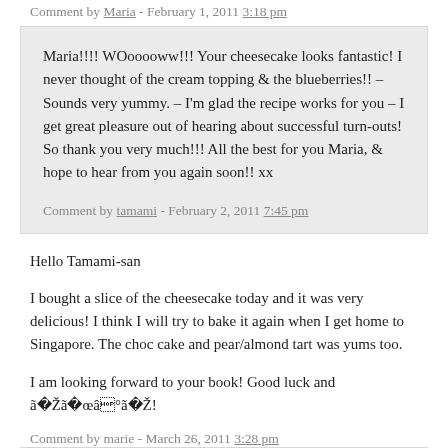Comment by Maria - February 1, 2011 3:18 pm
Maria!!!! WOooooww!!! Your cheesecake looks fantastic! I never thought of the cream topping & the blueberries!! – Sounds very yummy. – I'm glad the recipe works for you – I get great pleasure out of hearing about successful turn-outs! So thank you very much!!! All the best for you Maria, & hope to hear from you again soon!! xx
Comment by tamami - February 2, 2011 7:45 pm
Hello Tamami-san
I bought a slice of the cheesecake today and it was very delicious! I think I will try to bake it again when I get home to Singapore. The choc cake and pear/almond tart was yums too.
I am looking forward to your book! Good luck and ããâ°ã!
Comment by marie - March 26, 2011 3:28 pm